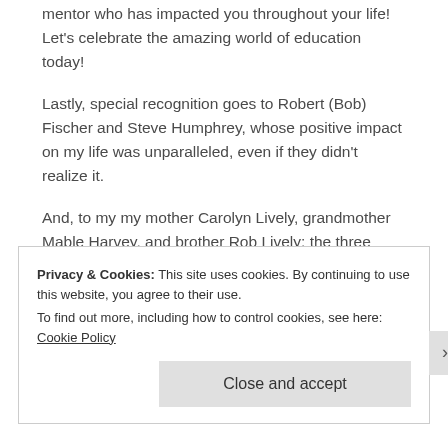mentor who has impacted you throughout your life! Let's celebrate the amazing world of education today!
Lastly, special recognition goes to Robert (Bob) Fischer and Steve Humphrey, whose positive impact on my life was unparalleled, even if they didn't realize it.
And, to my my mother Carolyn Lively, grandmother Mable Harvey, and brother Rob Lively: the three greatest teachers who never ran a classroom.
Privacy & Cookies: This site uses cookies. By continuing to use this website, you agree to their use.
To find out more, including how to control cookies, see here: Cookie Policy
Close and accept